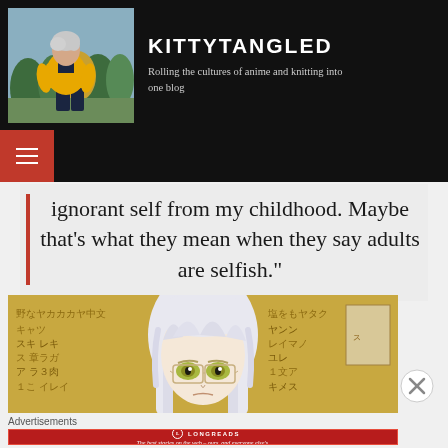[Figure (screenshot): Blog header with photo of person in yellow jacket outdoors, site title KITTYTANGLED and tagline]
KITTYTANGLED
Rolling the cultures of anime and knitting into one blog
[Figure (screenshot): Navigation bar with red hamburger menu icon]
ignorant self from my childhood. Maybe that’s what they mean when they say adults are selfish.”
[Figure (illustration): Anime character with white/silver hair and yellow-green eyes in classroom with Japanese kanji writing on walls]
Advertisements
[Figure (screenshot): Longreads advertisement banner: The best stories on the web – ours, and everyone else's.]